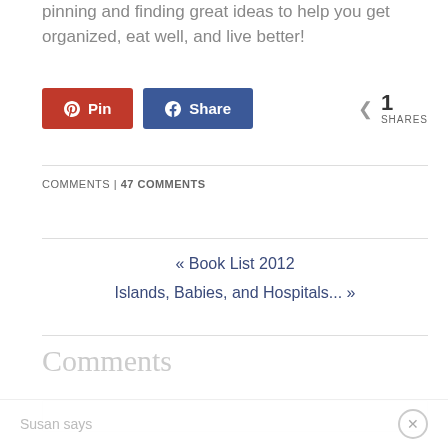pinning and finding great ideas to help you get organized, eat well, and live better!
[Figure (other): Social sharing buttons: Pin button (red with Pinterest icon) and Share button (blue with Facebook icon), plus share count showing 1 SHARES]
COMMENTS | 47 COMMENTS
« Book List 2012
Islands, Babies, and Hospitals... »
Comments
Susan says